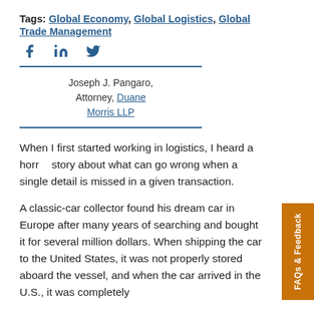Tags: Global Economy, Global Logistics, Global Trade Management
[Figure (other): Social media icons: Facebook, LinkedIn, Twitter]
Joseph J. Pangaro, Attorney, Duane Morris LLP
When I first started working in logistics, I heard a horror story about what can go wrong when a single detail is missed in a given transaction.
A classic-car collector found his dream car in Europe after many years of searching and bought it for several million dollars. When shipping the car to the United States, it was not properly stored aboard the vessel, and when the car arrived in the U.S., it was completely